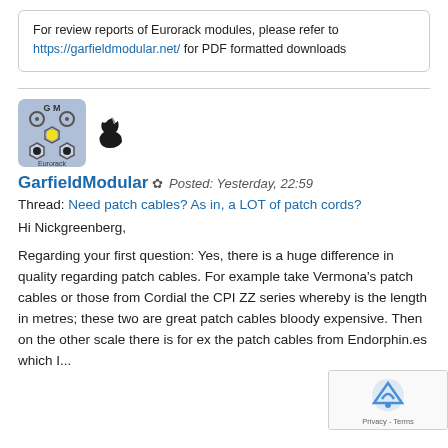For review reports of Eurorack modules, please refer to https://garfieldmodular.net/ for PDF formatted downloads
[Figure (logo): GarfieldModular avatar showing Eurorack module panel with knobs and a unicorn silhouette icon]
GarfieldModular ✿ Posted: Yesterday, 22:59
Thread: Need patch cables? As in, a LOT of patch cords?
Hi Nickgreenberg,
Regarding your first question: Yes, there is a huge difference in quality regarding patch cables. For example take Vermona's patch cables or those from Cordial the CPI ZZ series whereby is the length in metres; these two are great patch cables bloody expensive. Then on the other scale there is for ex the patch cables from Endorphin.es which I...